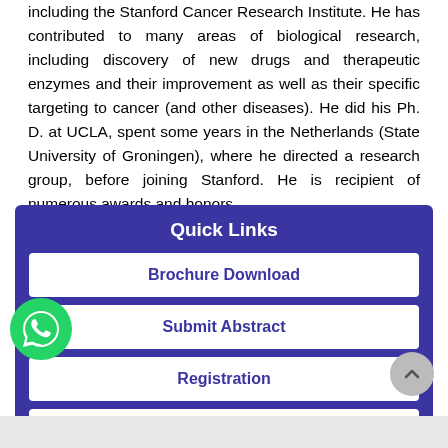including the Stanford Cancer Research Institute. He has contributed to many areas of biological research, including discovery of new drugs and therapeutic enzymes and their improvement as well as their specific targeting to cancer (and other diseases). He did his Ph. D. at UCLA, spent some years in the Netherlands (State University of Groningen), where he directed a research group, before joining Stanford. He is recipient of numerous awards and honors.
Quick Links
Brochure Download
Submit Abstract
Registration
Venue Details
[Figure (logo): WhatsApp icon - green circular button with phone handset symbol]
[Figure (other): Scroll to top button - grey circle with upward chevron arrow]